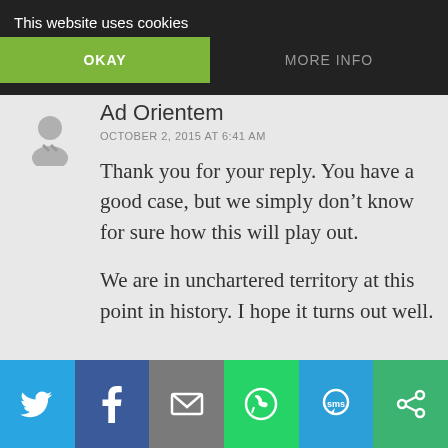This website uses cookies | OKAY | MORE INFO
Ad Orientem
OCTOBER 2, 2015 AT 6:41 AM
Thank you for your reply. You have a good case, but we simply don't know for sure how this will play out.

We are in unchartered territory at this point in history. I hope it turns out well.
Share buttons: Twitter, Facebook, Email, WhatsApp, SMS, Other